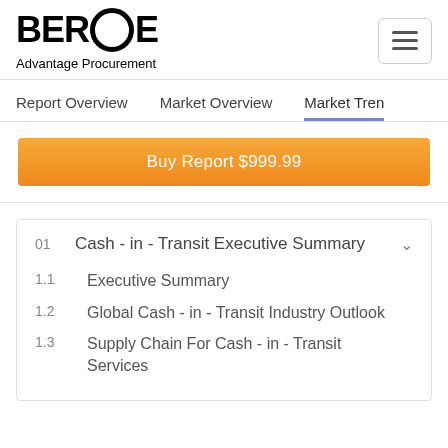BEROE Advantage Procurement
Report Overview   Market Overview   Market Tren
Buy Report $999.99
01  Cash - in - Transit Executive Summary
1.1  Executive Summary
1.2  Global Cash - in - Transit Industry Outlook
1.3  Supply Chain For Cash - in - Transit Services